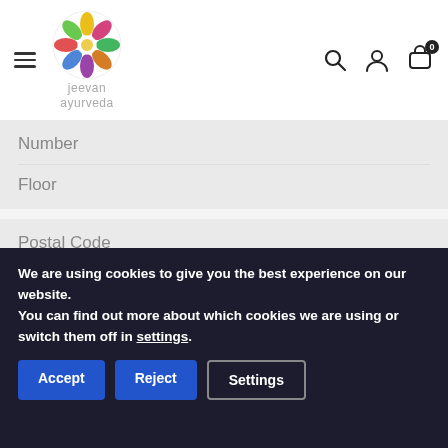[Figure (logo): Jeevan Ayurveda logo: colorful mandala/flower circle above text 'jeevan ayurveda' in light grey]
Number
Floor
Postal Code
City
We are using cookies to give you the best experience on our website.
You can find out more about which cookies we are using or switch them off in settings.
Accept
Reject
Settings